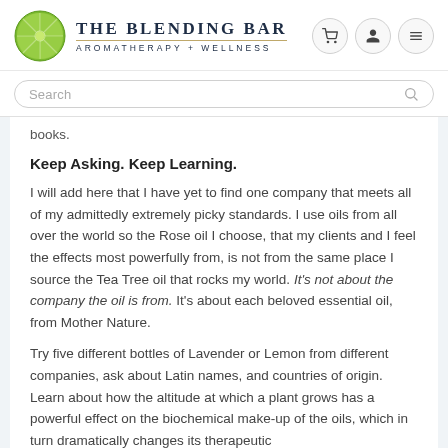[Figure (logo): The Blending Bar - Aromatherapy + Wellness logo with lime/citrus circle icon]
Search
books.
Keep Asking. Keep Learning.
I will add here that I have yet to find one company that meets all of my admittedly extremely picky standards. I use oils from all over the world so the Rose oil I choose, that my clients and I feel the effects most powerfully from, is not from the same place I source the Tea Tree oil that rocks my world. It's not about the company the oil is from. It's about each beloved essential oil, from Mother Nature.
Try five different bottles of Lavender or Lemon from different companies, ask about Latin names, and countries of origin. Learn about how the altitude at which a plant grows has a powerful effect on the biochemical make-up of the oils, which in turn dramatically changes its therapeutic